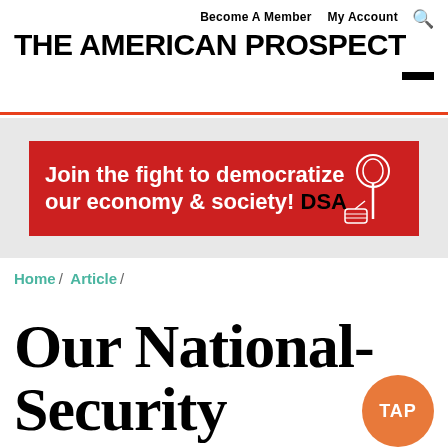THE AMERICAN PROSPECT
Become A Member   My Account
[Figure (other): DSA advertisement banner: red background with white text 'Join the fight to democratize our economy & society! DSA' with a rose logo on the right]
Home / Article /
Our National-Security Perspective,